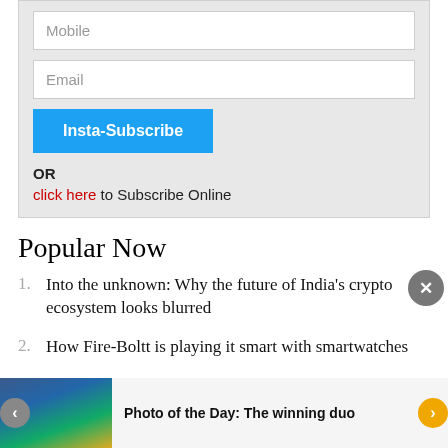[Figure (screenshot): Subscription form with Mobile and Email input fields, Insta-Subscribe button, OR text, and click here to Subscribe Online link]
Popular Now
Into the unknown: Why the future of India's crypto ecosystem looks blurred
How Fire-Boltt is playing it smart with smartwatches
Photo of the Day: The winning duo